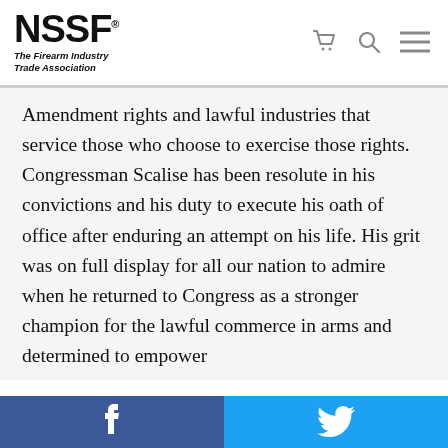NSSF® The Firearm Industry Trade Association
Amendment rights and lawful industries that service those who choose to exercise those rights. Congressman Scalise has been resolute in his convictions and his duty to execute his oath of office after enduring an attempt on his life. His grit was on full display for all our nation to admire when he returned to Congress as a stronger champion for the lawful commerce in arms and determined to empower
We use cookies to ensure we give you the best experience on our website. By clicking "Accept" or using our website, you consent to the use of cookies unless you have disabled them.
Facebook | Twitter social share bar